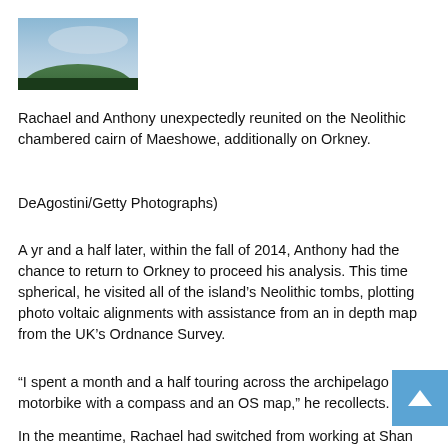[Figure (photo): Small landscape photograph showing a green hill or mound under a hazy blue-grey sky, likely Maeshowe on Orkney.]
Rachael and Anthony unexpectedly reunited on the Neolithic chambered cairn of Maeshowe, additionally on Orkney.
DeAgostini/Getty Photographs)
A yr and a half later, within the fall of 2014, Anthony had the chance to return to Orkney to proceed his analysis. This time spherical, he visited all of the island's Neolithic tombs, plotting photo voltaic alignments with assistance from an in depth map from the UK's Ordnance Survey.
“I spent a month and a half touring across the archipelago on a motorbike with a compass and an OS map,” he recollects.
In the meantime, Rachael had switched from working at Shan